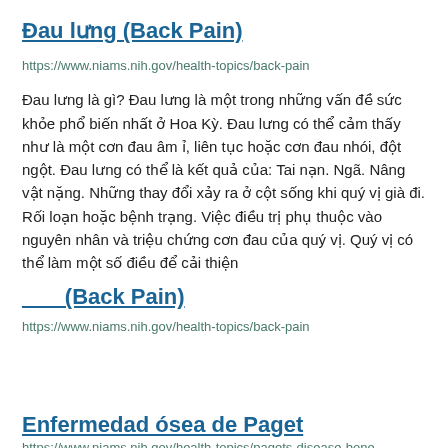Đau lưng (Back Pain)
https://www.niams.nih.gov/health-topics/back-pain
Đau lưng là gì? Đau lưng là một trong những vấn đề sức khỏe phổ biến nhất ở Hoa Kỳ. Đau lưng có thể cảm thấy như là một cơn đau âm ỉ, liên tục hoặc cơn đau nhói, đột ngột. Đau lưng có thể là kết quả của: Tai nạn. Ngã. Nâng vật nặng. Những thay đổi xảy ra ở cột sống khi quý vị già đi. Rối loạn hoặc bệnh trạng. Việc điều trị phụ thuộc vào nguyên nhân và triệu chứng cơn đau của quý vị. Quý vị có thể làm một số điều để cải thiện
___ (Back Pain)
https://www.niams.nih.gov/health-topics/back-pain
Enfermedad ósea de Paget
https://www.niams.nih.gov/health-topics/pagets-disease-bone
¿Qué es la enfermedad de Paget? La enfermedad ósea de Paget es un trastorno crónico (de larga duración) que hace que los huesos crezcan y se debiliten más de lo normal. Por lo general, la